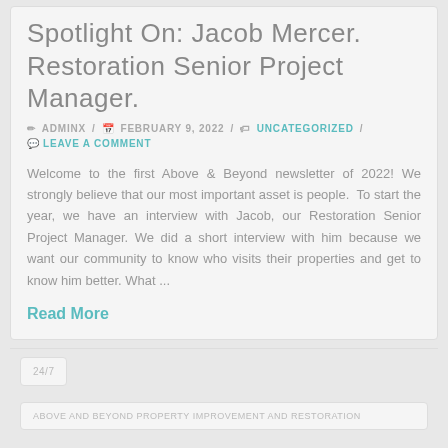Spotlight On: Jacob Mercer. Restoration Senior Project Manager.
✏ ADMINX / 📅 FEBRUARY 9, 2022 / 🏷 UNCATEGORIZED / 💬 LEAVE A COMMENT
Welcome to the first Above & Beyond newsletter of 2022! We strongly believe that our most important asset is people.  To start the year, we have an interview with Jacob, our Restoration Senior Project Manager. We did a short interview with him because we want our community to know who visits their properties and get to know him better. What ...
Read More
24/7
ABOVE AND BEYOND PROPERTY IMPROVEMENT AND RESTORATION